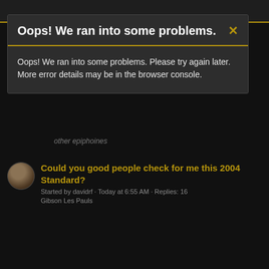[Figure (screenshot): Dark-themed forum website screenshot showing an error dialog modal overlaying a forum thread listing. The modal has a dark background with a gold/yellow bottom border on the header. Behind the modal, partially visible text reads 'other epiphoines' and a forum thread is visible below.]
Oops! We ran into some problems.
Oops! We ran into some problems. Please try again later. More error details may be in the browser console.
other epiphoines
Could you good people check for me this 2004 Standard?
Started by davidrf · Today at 6:55 AM · Replies: 16
Gibson Les Pauls